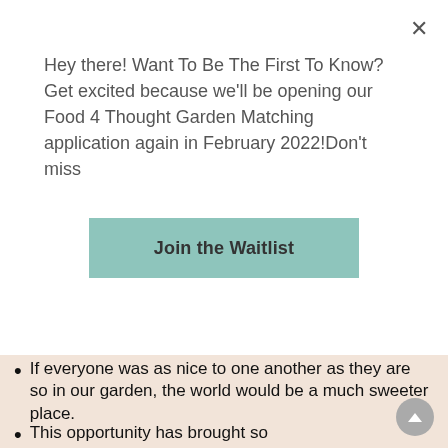Hey there! Want To Be The First To Know?Get excited because we'll be opening our Food 4 Thought Garden Matching application again in February 2022!Don't miss
Join the Waitlist
gave me purpose during this unusual COVID Summer. Thank you!
If everyone was as nice to one another as they are so in our garden, the world would be a much sweeter place.
This opportunity has brought so